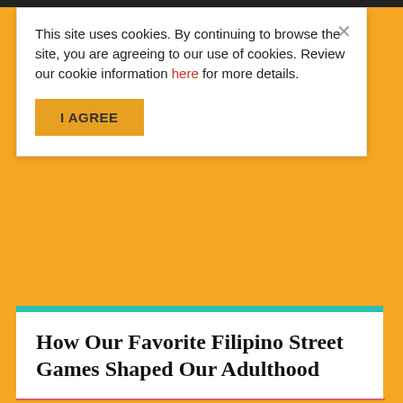This site uses cookies. By continuing to browse the site, you are agreeing to our use of cookies. Review our cookie information here for more details.
I AGREE
How Our Favorite Filipino Street Games Shaped Our Adulthood
[Figure (photo): A pink-to-light-pink gradient image, partially visible at the bottom of the page, representing an article image.]